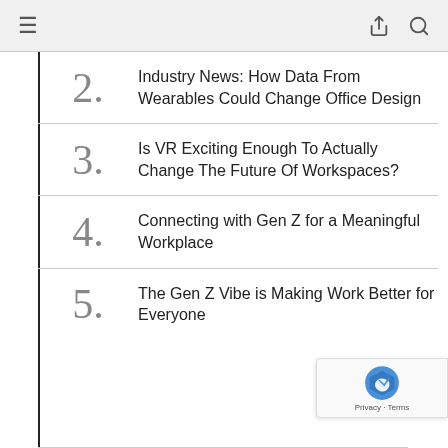Navigation bar with hamburger menu, share icon, and search icon
2. Industry News: How Data From Wearables Could Change Office Design
3. Is VR Exciting Enough To Actually Change The Future Of Workspaces?
4. Connecting with Gen Z for a Meaningful Workplace
5. The Gen Z Vibe is Making Work Better for Everyone